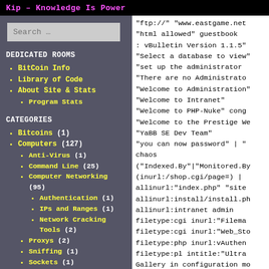Kip – Knowledge Is Power
DEDICATED ROOMS
BitCoin Info
Library of Code
About Site & Stats
Program Stats
CATEGORIES
Bitcoins (1)
Computers (127)
Anti-Virus (1)
Command Line (25)
Computer Networking (95)
Authentication (1)
IPs and Ranges (1)
Network Cracking Tools (2)
Proxys (2)
Sniffing (1)
Sockets (1)
"ftp://" "www.eastgame.net"
"html allowed" guestbook
: vBulletin Version 1.1.5"
"Select a database to view"
"set up the administrator"
"There are no Administrators"
"Welcome to Administration"
"Welcome to Intranet"
"Welcome to PHP-Nuke" cong
"Welcome to the Prestige We
"YaBB SE Dev Team"
"you can now password" | "
chaos
("Indexed.By"|"Monitored.By
(inurl:/shop.cgi/page=) |
allinurl:"index.php" "site
allinurl:install/install.ph
allinurl:intranet admin
filetype:cgi inurl:"Filema
filetype:cgi inurl:"Web_Sto
filetype:php inurl:vAuthen
filetype:pl intitle:"Ultra
Gallery in configuration mo
Hassan Consulting's Shoppi
intext:"Warning: * am able
intitle:"Gateway Configura
intitle:"Horde :: My Porta
intitle:"Mail Server CMail
intitle:"MvBlog powered"
intitle:"Remote Desktop We
intitle:"Samba Web Adminis